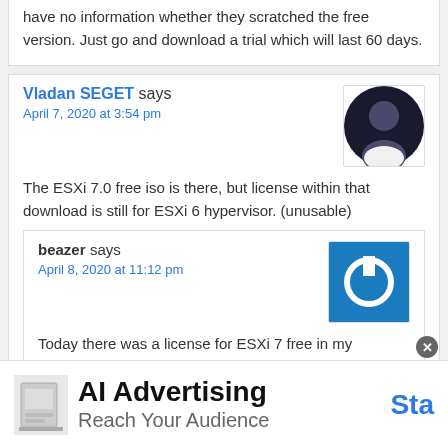have no information whether they scratched the free version. Just go and download a trial which will last 60 days.
Vladan SEGET says
April 7, 2020 at 3:54 pm
The ESXi 7.0 free iso is there, but license within that download is still for ESXi 6 hypervisor. (unusable)
beazer says
April 8, 2020 at 11:12 pm
Today there was a license for ESXi 7 free in my VMWare Account. It was usable in my homelab...
[Figure (screenshot): AI Advertising banner ad with text 'AI Advertising', 'Reach Your Audience', 'Sta' (truncated)]